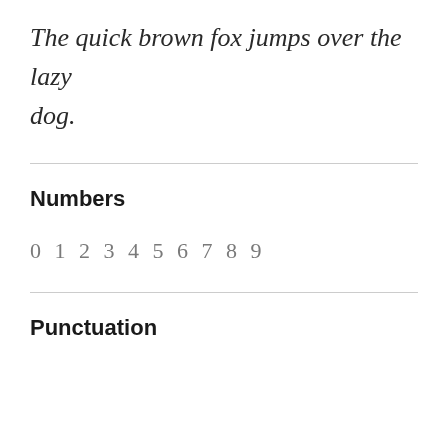The quick brown fox jumps over the lazy dog.
Numbers
0 1 2 3 4 5 6 7 8 9
Punctuation